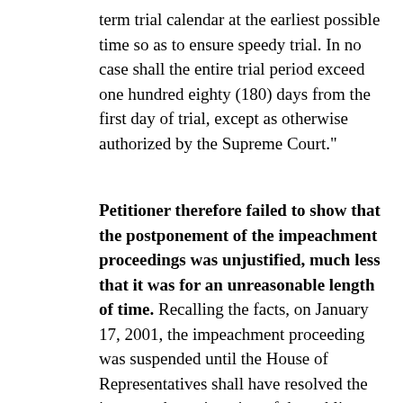term trial calendar at the earliest possible time so as to ensure speedy trial. In no case shall the entire trial period exceed one hundred eighty (180) days from the first day of trial, except as otherwise authorized by the Supreme Court."
Petitioner therefore failed to show that the postponement of the impeachment proceedings was unjustified, much less that it was for an unreasonable length of time. Recalling the facts, on January 17, 2001, the impeachment proceeding was suspended until the House of Representatives shall have resolved the issue on the resignation of the public prosecutors. This was justified and understandable for an impeachment proceeding without a panel of prosecutors is a mockery of the impeachment process. However, three (3) days from the suspension or January 20, 2001,